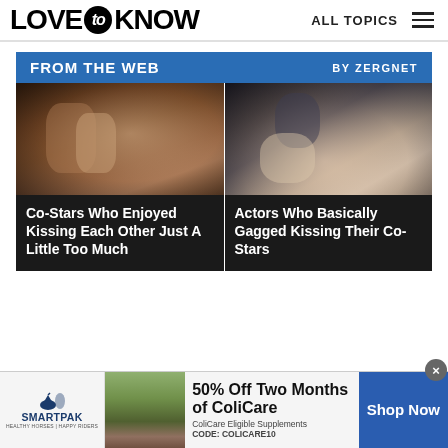LOVE to KNOW | ALL TOPICS
FROM THE WEB BY ZERGNET
[Figure (photo): Two people kissing closely, close-up romantic scene]
Co-Stars Who Enjoyed Kissing Each Other Just A Little Too Much
[Figure (photo): Two people about to kiss, blonde woman and dark-haired man]
Actors Who Basically Gagged Kissing Their Co-Stars
[Figure (photo): SmartPak advertisement banner: 50% Off Two Months of ColiCare, ColiCare Eligible Supplements, CODE: COLICARE10, Shop Now]